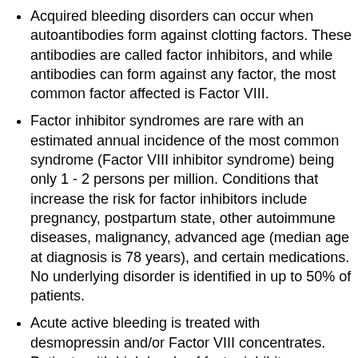Acquired bleeding disorders can occur when autoantibodies form against clotting factors. These antibodies are called factor inhibitors, and while antibodies can form against any factor, the most common factor affected is Factor VIII.
Factor inhibitor syndromes are rare with an estimated annual incidence of the most common syndrome (Factor VIII inhibitor syndrome) being only 1 - 2 persons per million. Conditions that increase the risk for factor inhibitors include pregnancy, postpartum state, other autoimmune diseases, malignancy, advanced age (median age at diagnosis is 78 years), and certain medications. No underlying disorder is identified in up to 50% of patients.
Acute active bleeding is treated with desmopressin and/or Factor VIII concentrates. Patients with high levels of factor inhibitors may require bypassing agents (see hemophilia treatment above). Long-term antibody suppression is achieved with immunosuppressants (e.g. corticosteroids,